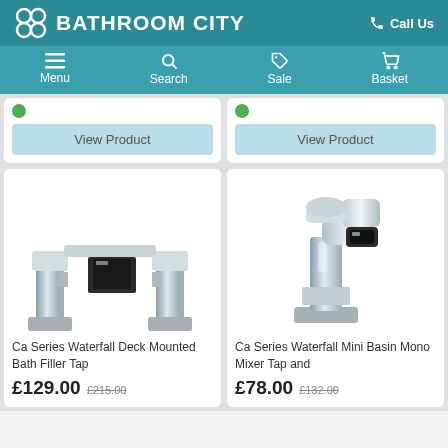BATHROOM CITY — Call Us
[Figure (screenshot): Navigation bar with Menu, Search, Sale, Basket icons]
[Figure (screenshot): Partial top row of product cards with View Product buttons]
[Figure (photo): Ca Series Waterfall Deck Mounted Bath Filler Tap — chrome tap product photo]
Ca Series Waterfall Deck Mounted Bath Filler Tap
£129.00 £215.00
[Figure (photo): Ca Series Waterfall Mini Basin Mono Mixer Tap and — chrome tap product photo]
Ca Series Waterfall Mini Basin Mono Mixer Tap and
£78.00 £132.00